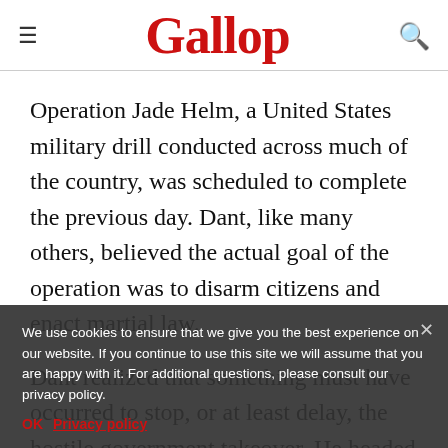Gallop
Operation Jade Helm, a United States military drill conducted across much of the country, was scheduled to complete the previous day. Dant, like many others, believed the actual goal of the operation was to disarm citizens and enact martial law.
Dant realized that something must have occurred to stop, or at least delay, the hostile government takeover. He headed to his local library to search
We use cookies to ensure that we give you the best experience on our website. If you continue to use this site we will assume that you are happy with it. For additional questions, please consult our privacy policy.
OK   Privacy policy